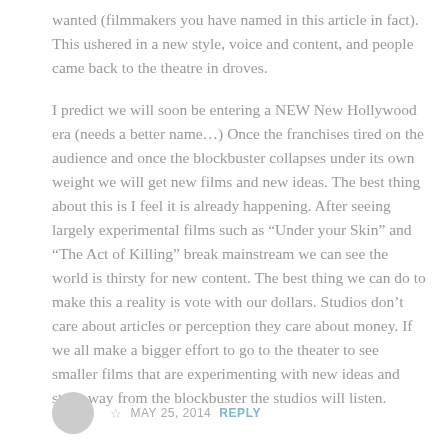wanted (filmmakers you have named in this article in fact). This ushered in a new style, voice and content, and people came back to the theatre in droves.

I predict we will soon be entering a NEW New Hollywood era (needs a better name...) Once the franchises tired on the audience and once the blockbuster collapses under its own weight we will get new films and new ideas. The best thing about this is I feel it is already happening. After seeing largely experimental films such as “Under your Skin” and “The Act of Killing” break mainstream we can see the world is thirsty for new content. The best thing we can do to make this a reality is vote with our dollars. Studios don’t care about articles or perception they care about money. If we all make a bigger effort to go to the theater to see smaller films that are experimenting with new ideas and stay away from the blockbuster the studios will listen.
☆ MAY 25, 2014  REPLY